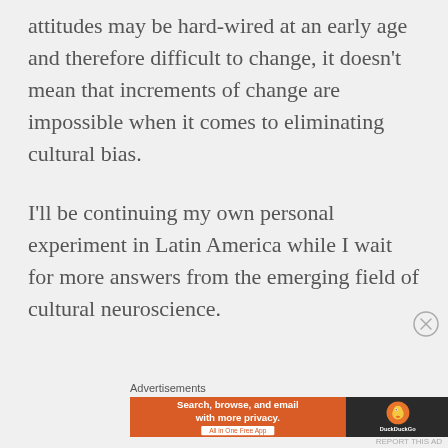attitudes may be hard-wired at an early age and therefore difficult to change, it doesn't mean that increments of change are impossible when it comes to eliminating cultural bias.
I'll be continuing my own personal experiment in Latin America while I wait for more answers from the emerging field of cultural neuroscience.
[Figure (other): DuckDuckGo advertisement banner: orange section with 'Search, browse, and email with more privacy. All in One Free App' and dark section with DuckDuckGo duck logo and brand name.]